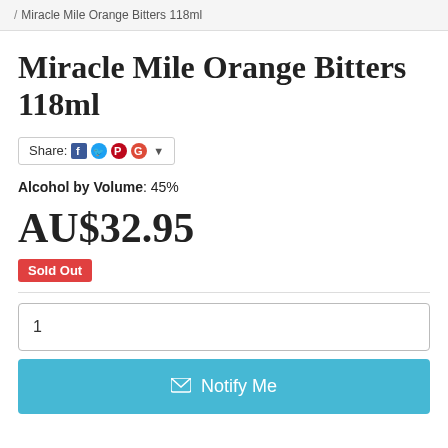/ Miracle Mile Orange Bitters 118ml
Miracle Mile Orange Bitters 118ml
Share: [Facebook] [Twitter] [Pinterest] [Google+] ▾
Alcohol by Volume: 45%
AU$32.95
Sold Out
1
✉ Notify Me